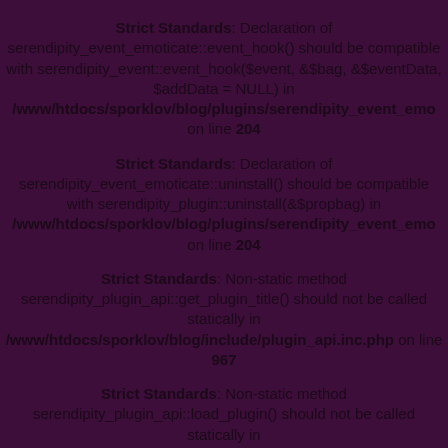Strict Standards: Declaration of serendipity_event_emoticate::event_hook() should be compatible with serendipity_event::event_hook($event, &$bag, &$eventData, $addData = NULL) in /www/htdocs/sporklov/blog/plugins/serendipity_event_emo on line 204
Strict Standards: Declaration of serendipity_event_emoticate::uninstall() should be compatible with serendipity_plugin::uninstall(&$propbag) in /www/htdocs/sporklov/blog/plugins/serendipity_event_emo on line 204
Strict Standards: Non-static method serendipity_plugin_api::get_plugin_title() should not be called statically in /www/htdocs/sporklov/blog/include/plugin_api.inc.php on line 967
Strict Standards: Non-static method serendipity_plugin_api::load_plugin() should not be called statically in /www/htdocs/sporklov/blog/include/plugin_api.inc.php on line 963